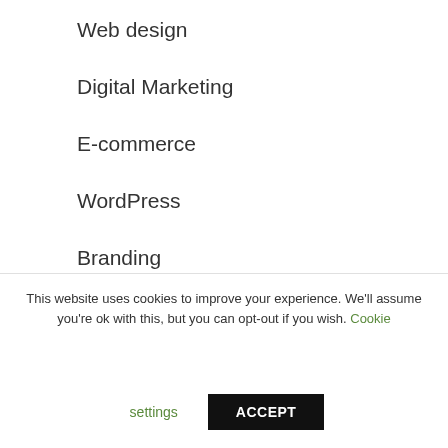Web design
Digital Marketing
E-commerce
WordPress
Branding
Domain Hosting
Genius Services
This website uses cookies to improve your experience. We'll assume you're ok with this, but you can opt-out if you wish. Cookie settings ACCEPT